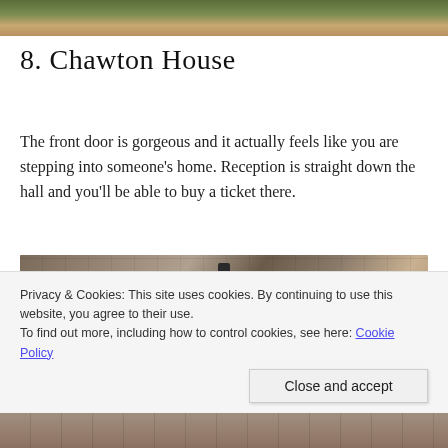[Figure (photo): Top strip of a photo showing a path and greenery at Chawton House]
8. Chawton House
The front door is gorgeous and it actually feels like you are stepping into someone's home. Reception is straight down the hall and you'll be able to buy a ticket there.
[Figure (photo): Photograph of the front door entrance of Chawton House, a historic stone building with arched doorway, lantern lamp above, leaded windows, and a person standing in the doorway smiling.]
Privacy & Cookies: This site uses cookies. By continuing to use this website, you agree to their use.
To find out more, including how to control cookies, see here: Cookie Policy
Close and accept
[Figure (photo): Bottom strip of a photo showing the grounds of Chawton House]